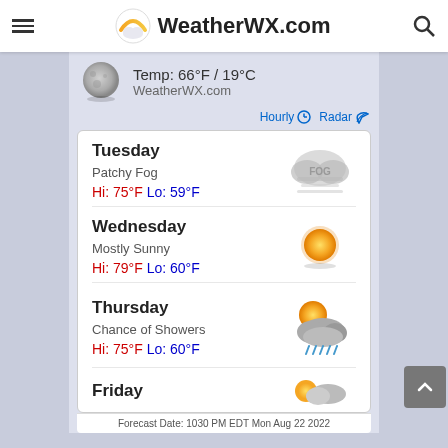WeatherWX.com
Temp: 66°F / 19°C
WeatherWX.com
Hourly  Radar
Tuesday
Patchy Fog
Hi: 75°F Lo: 59°F
Wednesday
Mostly Sunny
Hi: 79°F Lo: 60°F
Thursday
Chance of Showers
Hi: 75°F Lo: 60°F
Friday
Forecast Date: 1030 PM EDT Mon Aug 22 2022